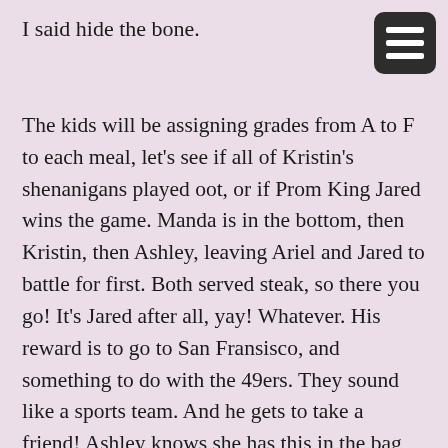I said hide the bone.
The kids will be assigning grades from A to F to each meal, let's see if all of Kristin's shenanigans played oot, or if Prom King Jared wins the game. Manda is in the bottom, then Kristin, then Ashley, leaving Ariel and Jared to battle for first. Both served steak, so there you go! It's Jared after all, yay! Whatever. His reward is to go to San Fransisco, and something to do with the 49ers. They sound like a sports team. And he gets to take a friend! Ashley knows she has this in the bag, being his best friend there and his entire support system, so when he says Kristin, she blurts out "WHAT?" In his defense, he does say "who doesn't like a pretty blonde girl?" for the second time, so there you go, he's got us there!